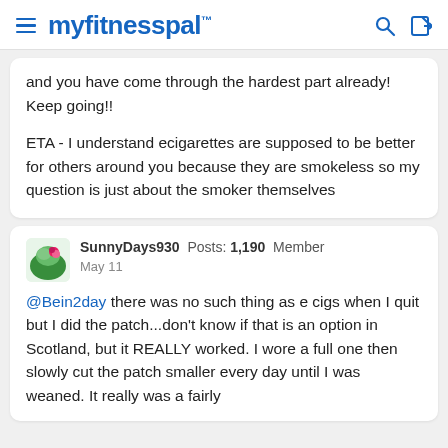myfitnesspal
and you have come through the hardest part already! Keep going!!

ETA - I understand ecigarettes are supposed to be better for others around you because they are smokeless so my question is just about the smoker themselves
SunnyDays930 Posts: 1,190 Member
May 11

@Bein2day there was no such thing as e cigs when I quit but I did the patch...don't know if that is an option in Scotland, but it REALLY worked. I wore a full one then slowly cut the patch smaller every day until I was weaned. It really was a fairly